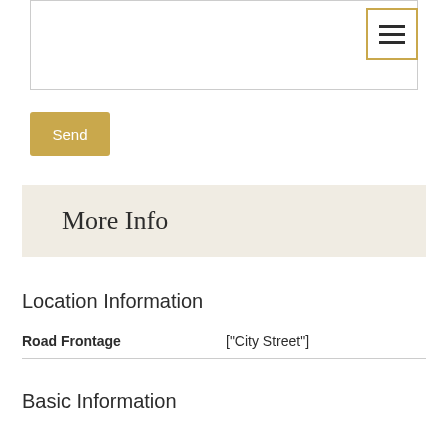[Figure (screenshot): Textarea input box at top of page]
[Figure (screenshot): Hamburger menu icon button with gold border in top right]
Send
More Info
Location Information
| Field | Value |
| --- | --- |
| Road Frontage | ["City Street"] |
Basic Information